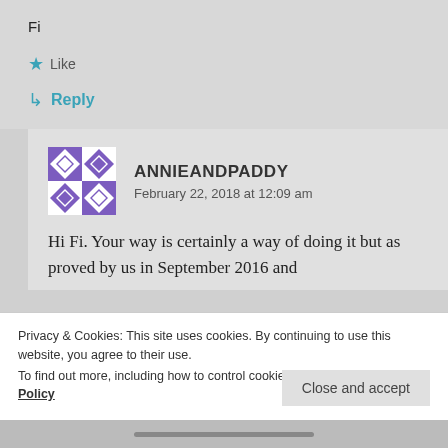Fi
★ Like
↳ Reply
ANNIEANDPADDY
February 22, 2018 at 12:09 am
Hi Fi. Your way is certainly a way of doing it but as proved by us in September 2016 and
Privacy & Cookies: This site uses cookies. By continuing to use this website, you agree to their use.
To find out more, including how to control cookies, see here: Cookie Policy
Close and accept